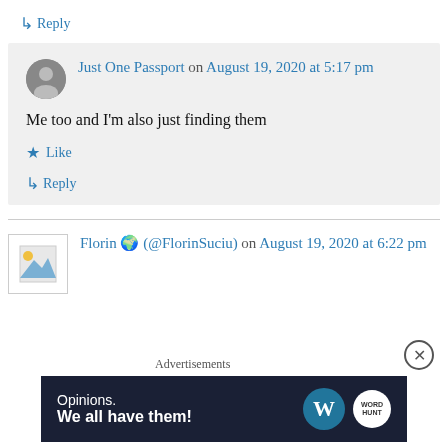↳ Reply
Just One Passport on August 19, 2020 at 5:17 pm
Me too and I'm also just finding them
★ Like
↳ Reply
Florin 🌍 (@FlorinSuciu) on August 19, 2020 at 6:22 pm
Advertisements
[Figure (other): WordPress advertisement banner: Opinions. We all have them! with WordPress and another logo]